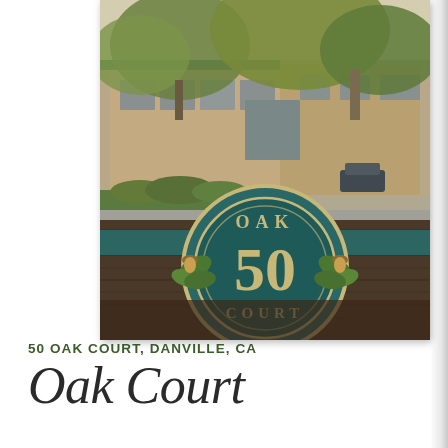[Figure (photo): Exterior photograph of 50 Oak Court in Danville, CA. Shows a tan/beige commercial building with large windows, trees in background, and in the foreground a weathered teal/green wooden fence sign that reads 'OAK 50 COURT' with an oak leaf and acorn motif.]
50 OAK COURT, DANVILLE, CA
Oak Court